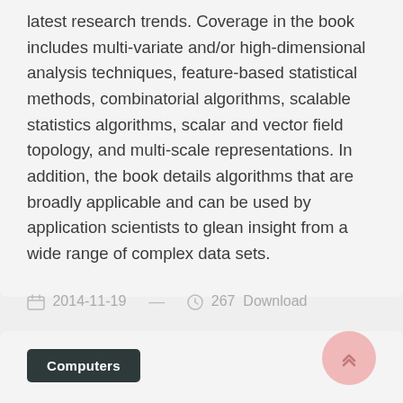latest research trends. Coverage in the book includes multi-variate and/or high-dimensional analysis techniques, feature-based statistical methods, combinatorial algorithms, scalable statistics algorithms, scalar and vector field topology, and multi-scale representations. In addition, the book details algorithms that are broadly applicable and can be used by application scientists to glean insight from a wide range of complex data sets.
2014-11-19  —  267 Download
Computers